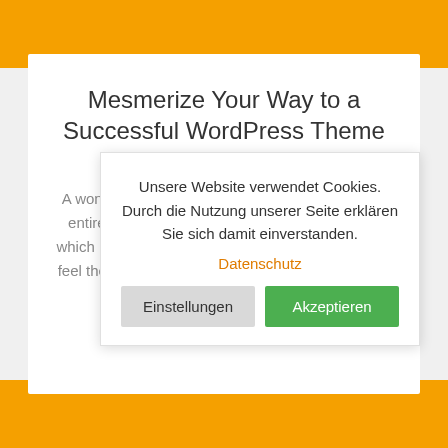Mesmerize Your Way to a Successful WordPress Theme
13. Juni 2016
A wonderful serenity has taken possession of my entire soul, like these sweet mornings of spring which I enjoy with my whole heart. I am alone, and feel the charm of existence in this spot, which was created for the bliss of souls like m
Unsere Website verwendet Cookies. Durch die Nutzung unserer Seite erklären Sie sich damit einverstanden.
Datenschutz
Einstellungen
Akzeptieren